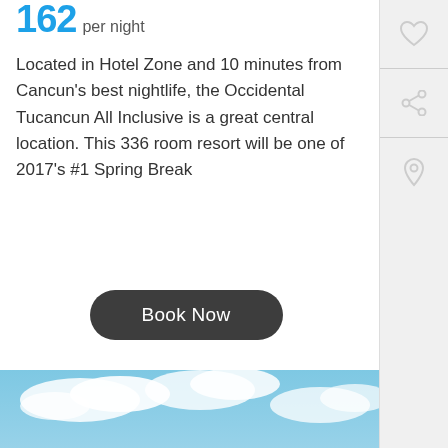162 per night
Located in Hotel Zone and 10 minutes from Cancun's best nightlife, the Occidental Tucancun All Inclusive is a great central location. This 336 room resort will be one of 2017's #1 Spring Break
Book Now
[Figure (photo): Aerial view of Occidental Tucancun All Inclusive resort in Cancun, showing large beachfront hotel buildings, turquoise Caribbean sea, white sandy beach, palm trees, swimming pools, and green lagoon in the background under a partly cloudy sky.]